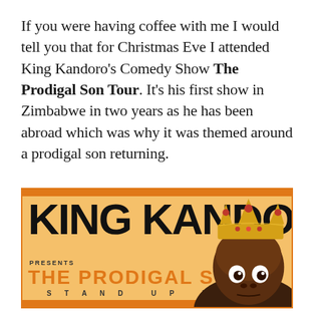If you were having coffee with me I would tell you that for Christmas Eve I attended King Kandoro's Comedy Show The Prodigal Son Tour. It's his first show in Zimbabwe in two years as he has been abroad which was why it was themed around a prodigal son returning.
[Figure (illustration): Promotional banner for King Kandoro's comedy show 'The Prodigal Son Stand Up Tour'. Orange and black banner with large bold text 'KING KANDORO' and subtitle 'THE PRODIGAL SON' in orange. A man wearing a gold crown is visible on the right side of the banner with wide eyes.]